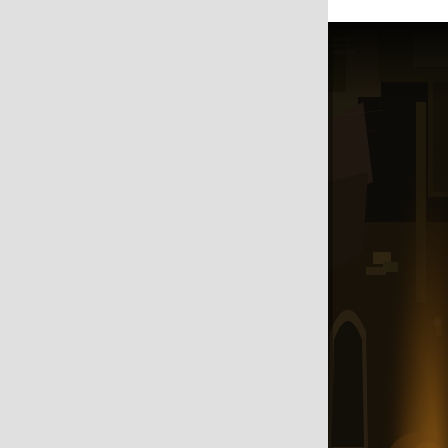[Figure (screenshot): Dark top-down isometric view of a fantasy RPG game environment showing stone ruins, archways, and a character with warm orange lighting in the lower right area. The scene is very dark with brown/amber tones.]
Character customization and changes over time.
Change hairstyles, grow a beard and do not overdo it with armor.
[Figure (screenshot): Partial screenshot at bottom of page, partially visible.]